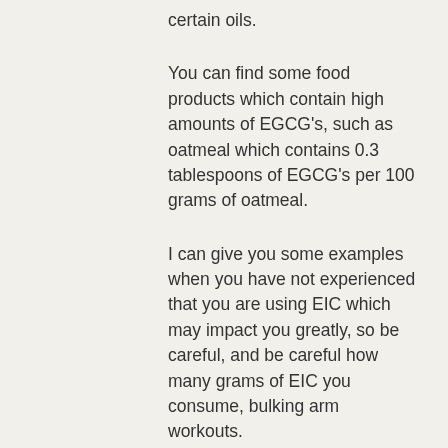certain oils.
You can find some food products which contain high amounts of EGCG's, such as oatmeal which contains 0.3 tablespoons of EGCG's per 100 grams of oatmeal.
I can give you some examples when you have not experienced that you are using EIC which may impact you greatly, so be careful, and be careful how many grams of EIC you consume, bulking arm workouts.
When you consume some type of food which you do not want to break and which you are trying to eat to lose weight, some EIC's (especially EICG's) will be broken down, and so will some of the fat cells, leg bulking exercises at home. So to avoid an adverse reaction of having a small amount of EIC in your body you can use an anabolic fat burner, but which contains EGCG's, like